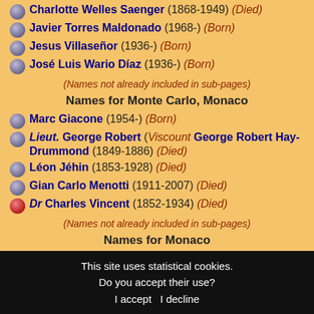Charlotte Welles Saenger (1868-1949) (Died)
Javier Torres Maldonado (1968-) (Born)
Jesus Villaseñor (1936-) (Born)
José Luis Wario Díaz (1936-) (Born)
(Names not already included in sub-pages)
Names for Monte Carlo, Monaco
Marc Giacone (1954-) (Born)
Lieut. George Robert (Viscount George Robert Hay-Drummond (1849-1886) (Died)
Léon Jéhin (1853-1928) (Died)
Gian Carlo Menotti (1911-2007) (Died)
Dr Charles Vincent (1852-1934) (Died)
(Names not already included in sub-pages)
Names for Monaco
This site uses statistical cookies. Do you accept their use? I accept I decline